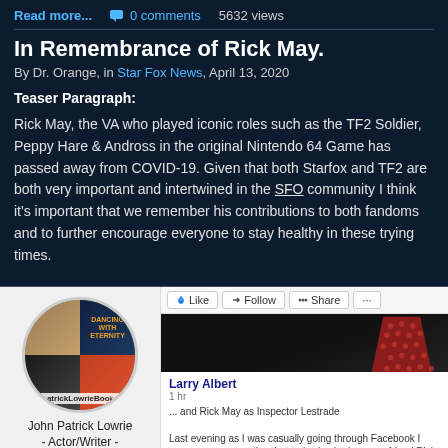Read more...  💬 0 comments  5632 views
In Remembrance of Rick May.
By Dr. Orange, in Star Fox News, April 13, 2020
Teaser Paragraph:
Rick May, the VA who played iconic roles such as the TF2 Soldier, Peppy Hare & Andross in the original Nintendo 64 Game has passed away from COVID-19. Given that both Starfox and TF2 are both very important and intertwined in the SFO community I think it's important that we remember his contributions to both fandoms and to further encourage everyone to stay healthy in these trying times.
[Figure (screenshot): Facebook post screenshot showing John Patrick Lowrie profile photo (circular), actor/writer bio, and a Facebook post by Larry Albert about Rick May passing away from Covid-19.]